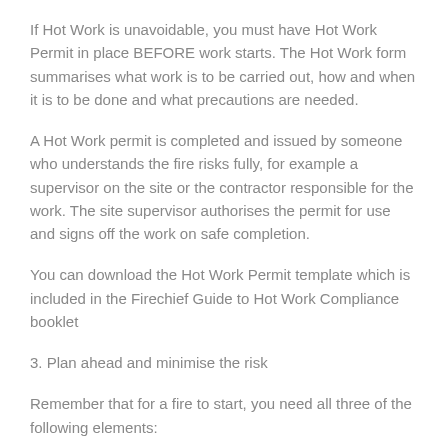If Hot Work is unavoidable, you must have Hot Work Permit in place BEFORE work starts. The Hot Work form summarises what work is to be carried out, how and when it is to be done and what precautions are needed.
A Hot Work permit is completed and issued by someone who understands the fire risks fully, for example a supervisor on the site or the contractor responsible for the work. The site supervisor authorises the permit for use and signs off the work on safe completion.
You can download the Hot Work Permit template which is included in the Firechief Guide to Hot Work Compliance booklet
3. Plan ahead and minimise the risk
Remember that for a fire to start, you need all three of the following elements: